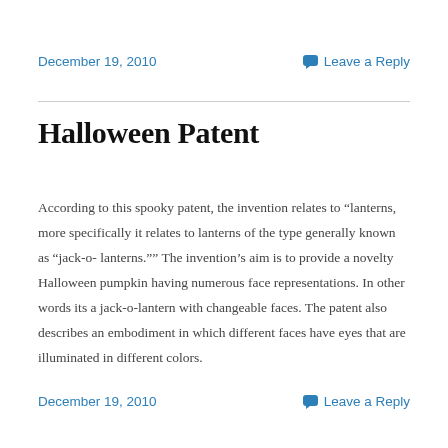December 19, 2010   Leave a Reply
Halloween Patent
According to this spooky patent, the invention relates to “lanterns, more specifically it relates to lanterns of the type generally known as “jack-o-lanterns.”” The invention’s aim is to provide a novelty Halloween pumpkin having numerous face representations. In other words its a jack-o-lantern with changeable faces. The patent also describes an embodiment in which different faces have eyes that are illuminated in different colors.
December 19, 2010   Leave a Reply